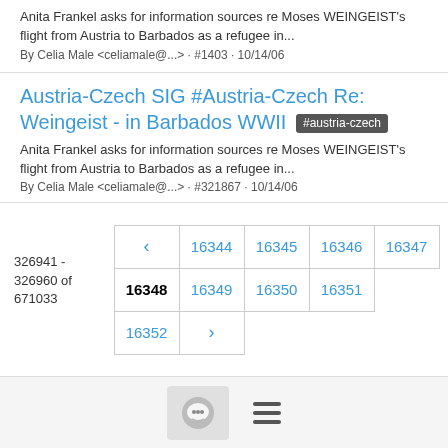Anita Frankel asks for information sources re Moses WEINGEIST's flight from Austria to Barbados as a refugee in...
By Celia Male <celiamale@...> · #1403 · 10/14/06
Austria-Czech SIG #Austria-Czech Re: Weingeist - in Barbados WWII #austria-czech
Anita Frankel asks for information sources re Moses WEINGEIST's flight from Austria to Barbados as a refugee in...
By Celia Male <celiamale@...> · #321867 · 10/14/06
326941 - 326960 of 671033
< 16344 16345 16346 16347 16348 16349 16350 16351 16352 >